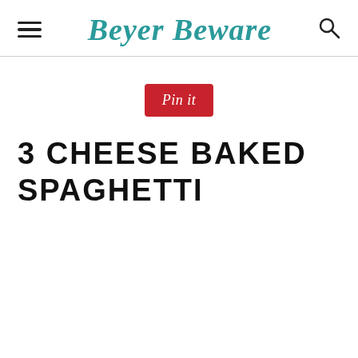Beyer Beware
[Figure (other): Pin it button - red rectangle with italic white text]
3 CHEESE BAKED SPAGHETTI